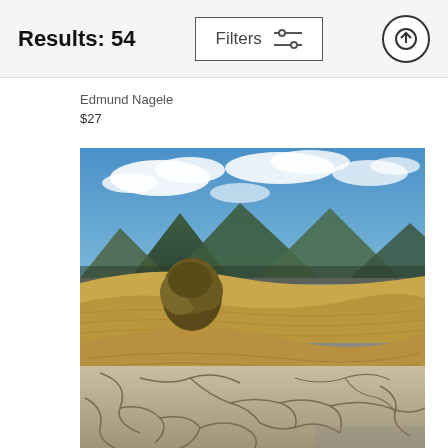Results: 54
Edmund Nagele
$27
[Figure (photo): Desert landscape photo showing cracked dry earth in the foreground, sand dunes with a lone shrub/tree in the middle ground, and mountains under a partly cloudy blue sky in the background.]